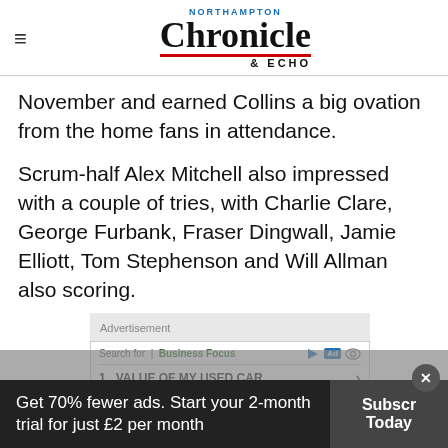Northampton Chronicle & Echo
November and earned Collins a big ovation from the home fans in attendance.
Scrum-half Alex Mitchell also impressed with a couple of tries, with Charlie Clare, George Furbank, Fraser Dingwall, Jamie Elliott, Tom Stephenson and Will Allman also scoring.
[Figure (screenshot): Advertisement box: Search for | Business Focus, 1. VALUE OF MY USED CAR with green arrow]
James... converting 10 of his team's 11 tries
Get 70% fewer ads. Start your 2-month trial for just £2 per month
Subscribe Today